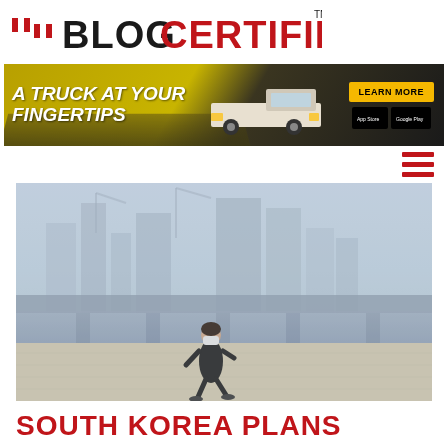BLOGCERTIFIED
[Figure (photo): Advertisement banner for a truck app: 'A TRUCK AT YOUR FINGERTIPS' with an F-150 truck image, LEARN MORE button, and app store download links]
[Figure (photo): Woman wearing a face mask walking along a waterfront promenade with a bridge and hazy city skyline in the background, smoggy/polluted air conditions]
SOUTH KOREA PLANS